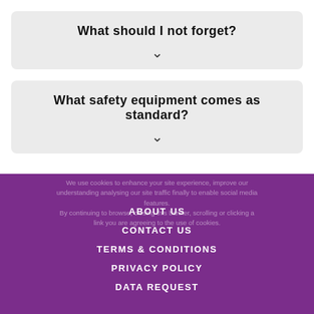What should I not forget?
What safety equipment comes as standard?
We use cookies to enhance your site experience, improve our understanding analysing our site traffic finally to enable social media features.
By continuing to browse, closing this banner, scrolling or clicking a link you are agreeing to the use of cookies.
ABOUT US
CONTACT US
TERMS & CONDITIONS
PRIVACY POLICY
DATA REQUEST